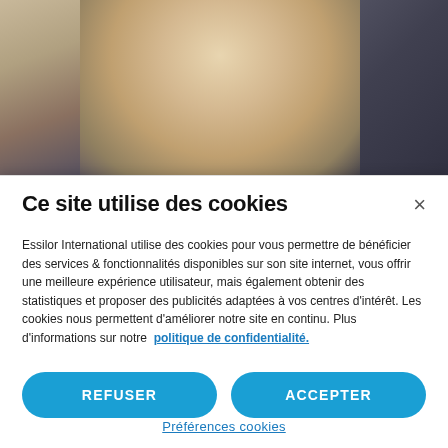[Figure (photo): Woman with glasses looking at a computer screen, blurred office background]
Ce site utilise des cookies
Essilor International utilise des cookies pour vous permettre de bénéficier des services & fonctionnalités disponibles sur son site internet, vous offrir une meilleure expérience utilisateur, mais également obtenir des statistiques et proposer des publicités adaptées à vos centres d'intérêt. Les cookies nous permettent d'améliorer notre site en continu. Plus d'informations sur notre  politique de confidentialité.
REFUSER
ACCEPTER
Préférences cookies